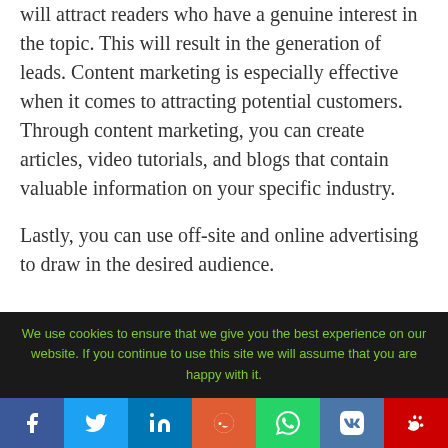will attract readers who have a genuine interest in the topic. This will result in the generation of leads. Content marketing is especially effective when it comes to attracting potential customers. Through content marketing, you can create articles, video tutorials, and blogs that contain valuable information on your specific industry.
Lastly, you can use off-site and online advertising to draw in the desired audience.
We use cookies to ensure that we give you the best experience on our website. If you continue to use this site we will assume that you are happy with it.